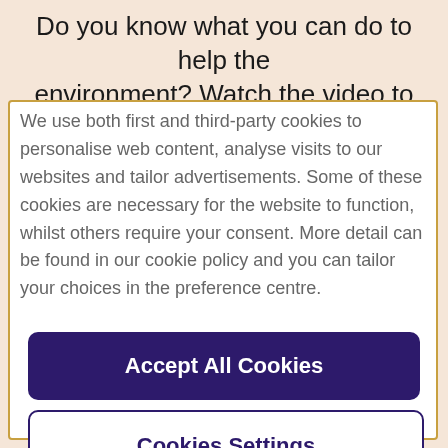Do you know what you can do to help the environment? Watch the video to find out how
We use both first and third-party cookies to personalise web content, analyse visits to our websites and tailor advertisements. Some of these cookies are necessary for the website to function, whilst others require your consent. More detail can be found in our cookie policy and you can tailor your choices in the preference centre.
Accept All Cookies
Cookies Settings